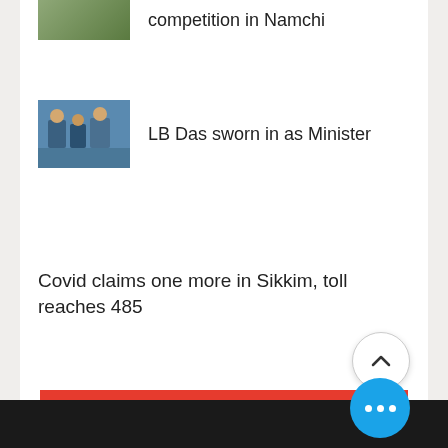competition in Namchi
[Figure (photo): News thumbnail showing people at a ceremony]
LB Das sworn in as Minister
Covid claims one more in Sikkim, toll reaches 485
[Figure (photo): News thumbnail showing military personnel]
Eastern Command Trans Theatre Adventure flagged off